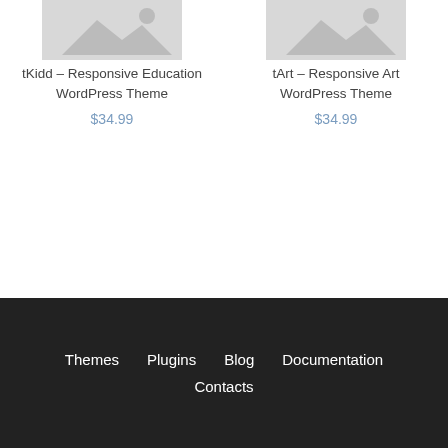[Figure (illustration): Placeholder image for tKidd theme product]
tKidd – Responsive Education WordPress Theme
$34.99
[Figure (illustration): Placeholder image for tArt theme product]
tArt – Responsive Art WordPress Theme
$34.99
Themes  Plugins  Blog  Documentation  Contacts